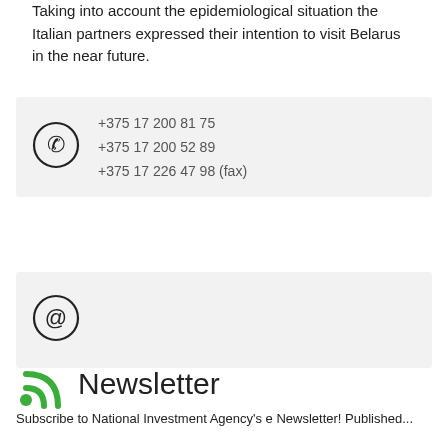Taking into account the epidemiological situation the Italian partners expressed their intention to visit Belarus in the near future.
+375 17 200 81 75
+375 17 200 52 89
+375 17 226 47 98 (fax)
@
Newsletter
Subscribe to National Investment Agency's e Newsletter! Published...